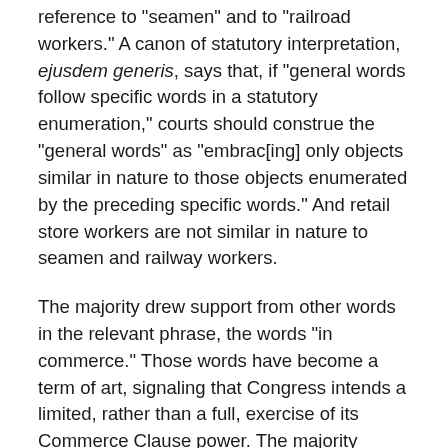reference to "seamen" and to "railroad workers." A canon of statutory interpretation, ejusdem generis, says that, if "general words follow specific words in a statutory enumeration," courts should construe the "general words" as "embrac[ing] only objects similar in nature to those objects enumerated by the preceding specific words." And retail store workers are not similar in nature to seamen and railway workers.
The majority drew support from other words in the relevant phrase, the words "in commerce." Those words have become a term of art, signaling that Congress intends a limited, rather than a full, exercise of its Commerce Clause power. The majority added that its interpretation, which limits "other class of workers" to, say, transportation workers, is consistent with a limited exercise of Congress's commerce power, but an interpretation broad enough to include workers in retail stores is too broad to count as limited. The majority recognized that the words "in commerce" had not become words of art in 1923 when Congress enacted the